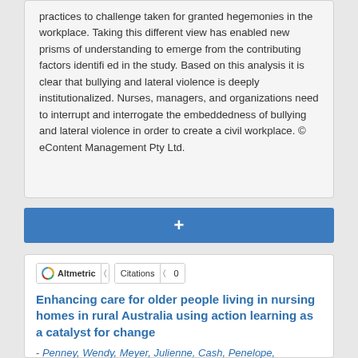practices to challenge taken for granted hegemonies in the workplace. Taking this different view has enabled new prisms of understanding to emerge from the contributing factors identifi ed in the study. Based on this analysis it is clear that bullying and lateral violence is deeply institutionalized. Nurses, managers, and organizations need to interrupt and interrogate the embeddedness of bullying and lateral violence in order to create a civil workplace. © eContent Management Pty Ltd.
[Figure (other): Blue button with plus (+) symbol for expanding or adding content]
Altmetric | Citations | 0
Enhancing care for older people living in nursing homes in rural Australia using action learning as a catalyst for change
- Penney, Wendy, Meyer, Julienne, Cash, Penelope, Clinnick,...